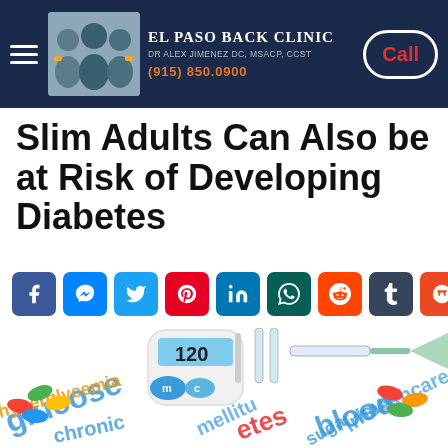El Paso Back Clinic — Dr Alex Jimenez DC, MSACP, CCST — (915) 850.0900
Slim Adults Can Also be at Risk of Developing Diabetes
[Figure (infographic): Row of social media share buttons: Facebook, Messenger, Twitter, Pinterest, LinkedIn, WhatsApp, Reddit, Tumblr, StumbleUpon]
[Figure (photo): Medical diabetes supplies photo showing a glucose meter reading 120, syringes, vials, colorful capsule pills, and word cloud with diabetes-related terms: hyperglycemia, glucose, chronic, diabetes, mellitus, blood, healthcare, insulin, sugar]